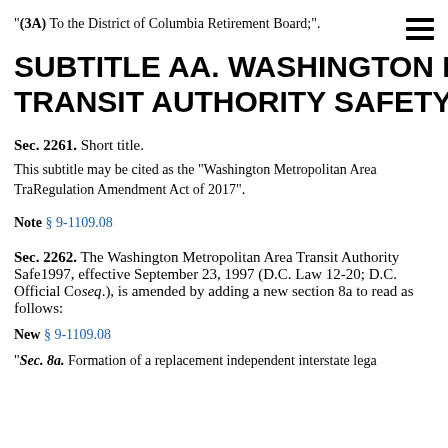"(3A) To the District of Columbia Retirement Board;".
SUBTITLE AA. WASHINGTON METROPOLITAN TRANSIT AUTHORITY SAFETY REGULATION
Sec. 2261. Short title.
This subtitle may be cited as the "Washington Metropolitan Area Transit Authority Safety Regulation Amendment Act of 2017".
Note § 9-1109.08
Sec. 2262. The Washington Metropolitan Area Transit Authority Safety Regulation Act of 1997, effective September 23, 1997 (D.C. Law 12-20; D.C. Official Code § 9-1109.01 et seq.), is amended by adding a new section 8a to read as follows:
New § 9-1109.08
"Sec. 8a. Formation of a replacement independent interstate legal...